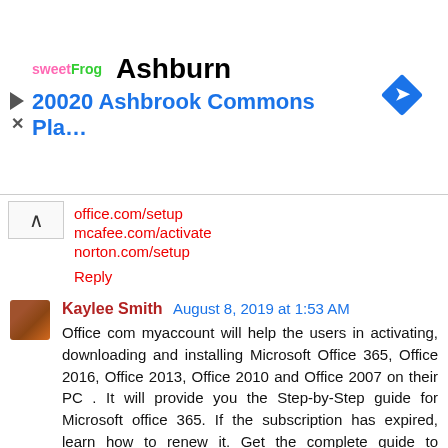[Figure (other): Advertisement banner: sweetFrog logo, city name 'Ashburn', address '20020 Ashbrook Commons Pla...', navigation/direction diamond icon on right, with play and close controls on left]
office.com/setup
mcafee.com/activate
norton.com/setup
Reply
Kaylee Smith  August 8, 2019 at 1:53 AM
Office com myaccount will help the users in activating, downloading and installing Microsoft Office 365, Office 2016, Office 2013, Office 2010 and Office 2007 on their PC . It will provide you the Step-by-Step guide for Microsoft office 365. If the subscription has expired, learn how to renew it. Get the complete guide to download, install and activate MS office setup.
office.com/setup | Office.com/myaccount | Office 365 Setup